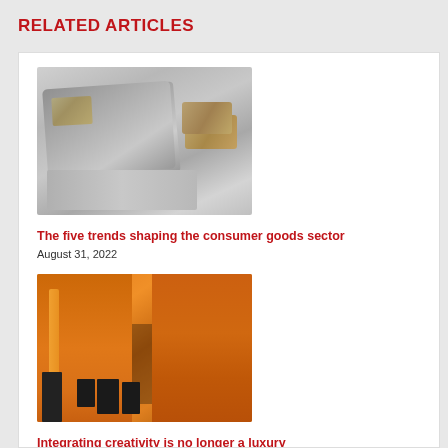RELATED ARTICLES
[Figure (photo): Person sitting cross-legged using a MacBook laptop while holding a credit card]
The five trends shaping the consumer goods sector
August 31, 2022
[Figure (photo): Group of people in black clothes posing in a gym/dance studio with bright orange staircase and walls]
Integrating creativity is no longer a luxury
August 29, 2022